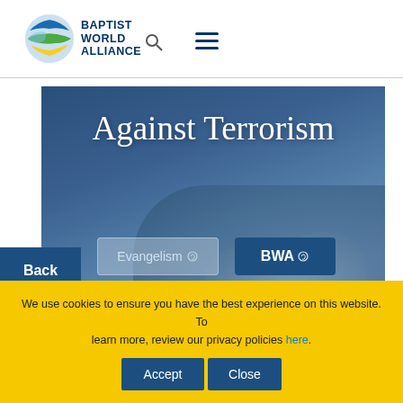[Figure (logo): Baptist World Alliance logo with globe graphic and text BAPTIST WORLD ALLIANCE with search icon and hamburger menu]
[Figure (photo): Banner image with text 'Against Terrorism' over a dark blue tinted background showing blurred hands on keyboard. Contains Evangelism and BWA navigation buttons.]
Back
We use cookies to ensure you have the best experience on this website. To learn more, review our privacy policies here .
Accept
Close